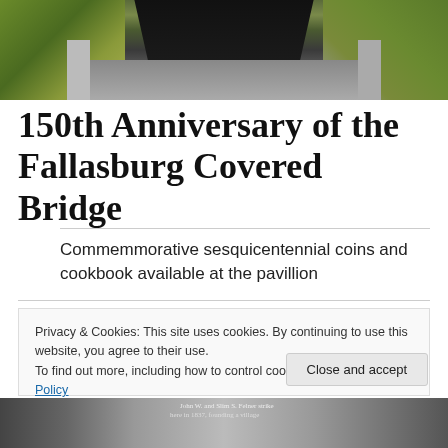[Figure (photo): Photograph of the Fallasburg Covered Bridge entrance from the road, showing green vegetation on both sides and the dark tunnel interior of the bridge.]
150th Anniversary of the Fallasburg Covered Bridge
Commemmorative sesquicentennial coins and cookbook available at the pavillion
Privacy & Cookies: This site uses cookies. By continuing to use this website, you agree to their use.
To find out more, including how to control cookies, see here: Cookie Policy
[Figure (photo): Partial photograph at the bottom of the page showing historical images related to the Fallasburg Covered Bridge, with text mentioning John W. and Slim S. Felner.]